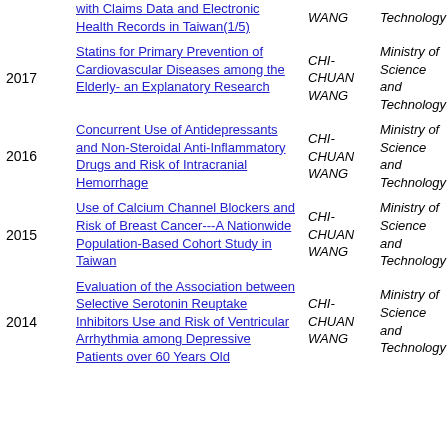| Year | Title | Author | Funder |
| --- | --- | --- | --- |
|  | with Claims Data and Electronic Health Records in Taiwan(1/5) | CHI-CHUAN WANG | Ministry of Science and Technology |
| 2017 | Statins for Primary Prevention of Cardiovascular Diseases among the Elderly- an Explanatory Research | CHI-CHUAN WANG | Ministry of Science and Technology |
| 2016 | Concurrent Use of Antidepressants and Non-Steroidal Anti-Inflammatory Drugs and Risk of Intracranial Hemorrhage | CHI-CHUAN WANG | Ministry of Science and Technology |
| 2015 | Use of Calcium Channel Blockers and Risk of Breast Cancer---A Nationwide Population-Based Cohort Study in Taiwan | CHI-CHUAN WANG | Ministry of Science and Technology |
| 2014 | Evaluation of the Association between Selective Serotonin Reuptake Inhibitors Use and Risk of Ventricular Arrhythmia among Depressive Patients over 60 Years Old | CHI-CHUAN WANG | Ministry of Science and Technology |